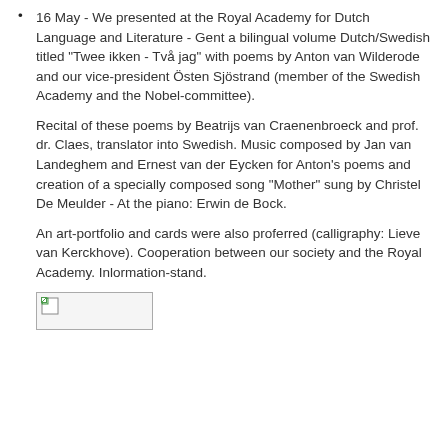16 May - We presented at the Royal Academy for Dutch Language and Literature - Gent a bilingual volume Dutch/Swedish titled "Twee ikken - Två jag" with poems by Anton van Wilderode and our vice-president Östen Sjöstrand (member of the Swedish Academy and the Nobel-committee).
Recital of these poems by Beatrijs van Craenenbroeck and prof. dr. Claes, translator into Swedish. Music composed by Jan van Landeghem and Ernest van der Eycken for Anton's poems and creation of a specially composed song "Mother" sung by Christel De Meulder - At the piano: Erwin de Bock.
An art-portfolio and cards were also proferred (calligraphy: Lieve van Kerckhove). Cooperation between our society and the Royal Academy. Inlormation-stand.
[Figure (photo): Broken/missing image placeholder (small image icon with torn corner graphic)]